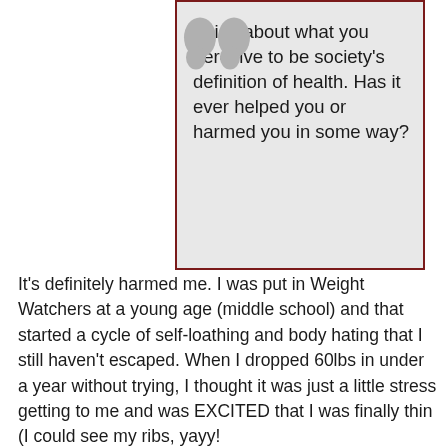[Figure (illustration): Decorative large quotation marks in light gray, positioned in the top-left of a gray quote box]
Think about what you perceive to be society's definition of health. Has it ever helped you or harmed you in some way?
It's definitely harmed me. I was put in Weight Watchers at a young age (middle school) and that started a cycle of self-loathing and body hating that I still haven't escaped. When I dropped 60lbs in under a year without trying, I thought it was just a little stress getting to me and was EXCITED that I was finally thin (I could see my ribs, yayy!